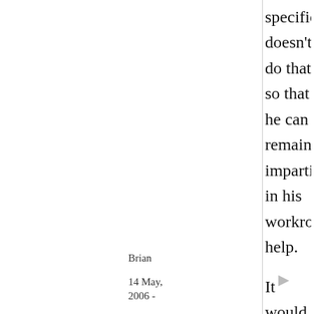specifically doesn't do that so that he can remain impartial in his workroom help. It would really be interesting to hear more specific comments from Tom as to how the chefs could improve their dishes.
Brian
14 May, 2006 -
Top Chef